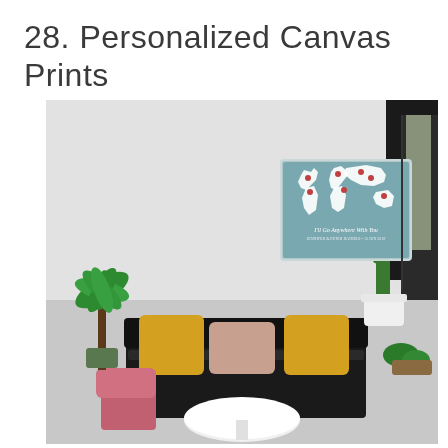28. Personalized Canvas Prints
[Figure (photo): A cozy living room corner with a world map canvas print hanging on the wall. The canvas features a teal/dusty blue background with a white world map and red heart pin markers on various locations. Text on the canvas reads 'I'll Go Anywhere With You'. Below the canvas is a dark sofa with yellow and pink cushions, a white round coffee table, and a pink chair. Green tropical plants are on either side, and a cactus is visible near a window on the right.]